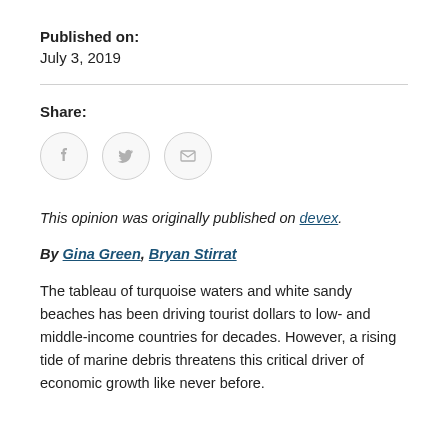Published on:
July 3, 2019
Share:
[Figure (infographic): Three circular social share buttons: Facebook (f icon), Twitter (bird icon), and Email (envelope icon)]
This opinion was originally published on devex.
By Gina Green, Bryan Stirrat
The tableau of turquoise waters and white sandy beaches has been driving tourist dollars to low- and middle-income countries for decades. However, a rising tide of marine debris threatens this critical driver of economic growth like never before.